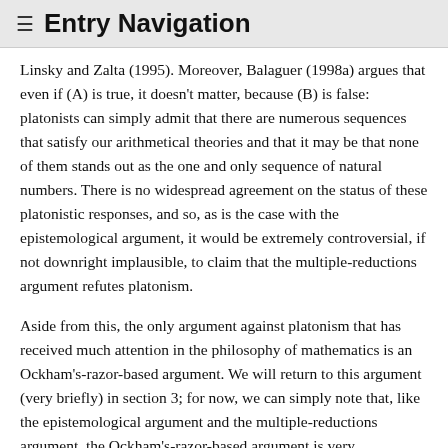≡ Entry Navigation
Linsky and Zalta (1995). Moreover, Balaguer (1998a) argues that even if (A) is true, it doesn't matter, because (B) is false: platonists can simply admit that there are numerous sequences that satisfy our arithmetical theories and that it may be that none of them stands out as the one and only sequence of natural numbers. There is no widespread agreement on the status of these platonistic responses, and so, as is the case with the epistemological argument, it would be extremely controversial, if not downright implausible, to claim that the multiple-reductions argument refutes platonism.
Aside from this, the only argument against platonism that has received much attention in the philosophy of mathematics is an Ockham's-razor-based argument. We will return to this argument (very briefly) in section 3; for now, we can simply note that, like the epistemological argument and the multiple-reductions argument, the Ockham's-razor-based argument is very controversial, and the claim that this argument refutes platonism is (at the very least) tendentious. Thus, the overall conclusion that